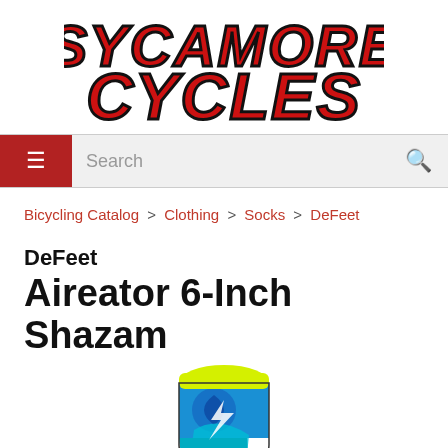[Figure (logo): Sycamore Cycles logo in large bold red comic-style lettering with black outline on white background]
[Figure (screenshot): Navigation bar with red hamburger menu button on left, search field, and search icon on right]
Bicycling Catalog > Clothing > Socks > DeFeet
DeFeet
Aireator 6-Inch Shazam
[Figure (photo): Product photo of a DeFeet Aireator 6-Inch Shazam cycling sock, colorful with yellow top, blue swirl and abstract pattern, partially visible]